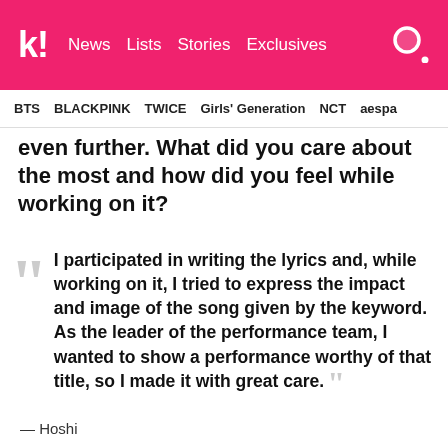k! News Lists Stories Exclusives
BTS BLACKPINK TWICE Girls' Generation NCT aespa
even further. What did you care about the most and how did you feel while working on it?
I participated in writing the lyrics and, while working on it, I tried to express the impact and image of the song given by the keyword. As the leader of the performance team, I wanted to show a performance worthy of that title, so I made it with great care.
— Hoshi